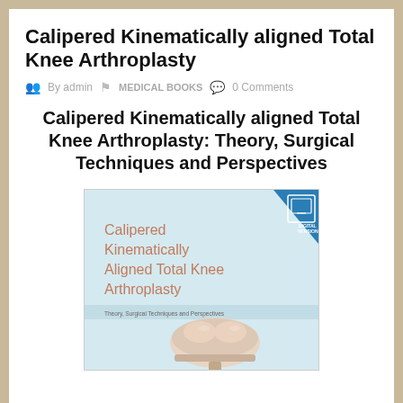Calipered Kinematically aligned Total Knee Arthroplasty
By admin  MEDICAL BOOKS  0 Comments
Calipered Kinematically aligned Total Knee Arthroplasty: Theory, Surgical Techniques and Perspectives
[Figure (photo): Book cover of 'Calipered Kinematically Aligned Total Knee Arthroplasty: Theory, Surgical Techniques and Perspectives'. Light blue background with salmon/copper colored title text, a digital version badge in top right corner, and an illustration of a knee joint implant in the lower portion.]